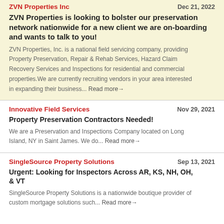ZVN Properties Inc
Dec 21, 2022
ZVN Properties is looking to bolster our preservation network nationwide for a new client we are on-boarding and wants to talk to you!
ZVN Properties, Inc. is a national field servicing company, providing Property Preservation, Repair & Rehab Services, Hazard Claim Recovery Services and Inspections for residential and commercial properties.We are currently recruiting vendors in your area interested in expanding their business... Read more→
Innovative Field Services
Nov 29, 2021
Property Preservation Contractors Needed!
We are a Preservation and Inspections Company located on Long Island, NY in Saint James. We do... Read more→
SingleSource Property Solutions
Sep 13, 2021
Urgent: Looking for Inspectors Across AR, KS, NH, OH, & VT
SingleSource Property Solutions is a nationwide boutique provider of custom mortgage solutions such... Read more→